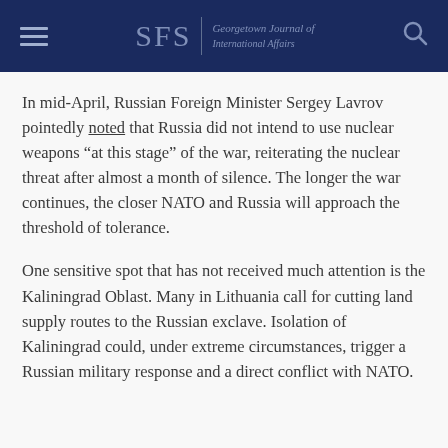SFS | Georgetown Journal of International Affairs
In mid-April, Russian Foreign Minister Sergey Lavrov pointedly noted that Russia did not intend to use nuclear weapons “at this stage” of the war, reiterating the nuclear threat after almost a month of silence. The longer the war continues, the closer NATO and Russia will approach the threshold of tolerance.
One sensitive spot that has not received much attention is the Kaliningrad Oblast. Many in Lithuania call for cutting land supply routes to the Russian exclave. Isolation of Kaliningrad could, under extreme circumstances, trigger a Russian military response and a direct conflict with NATO.